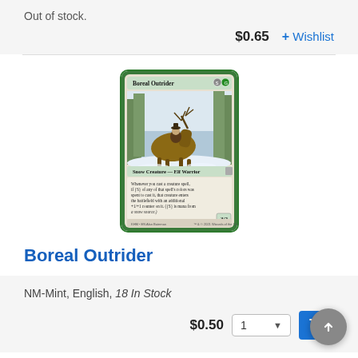Out of stock.
$0.65   + Wishlist
[Figure (illustration): Magic: The Gathering card 'Boreal Outrider' showing a figure riding a large animal through a snowy forest. Snow Creature — Elf Warrior, 3/2.]
Boreal Outrider
NM-Mint, English, 18 In Stock
$0.50  1  [cart button]